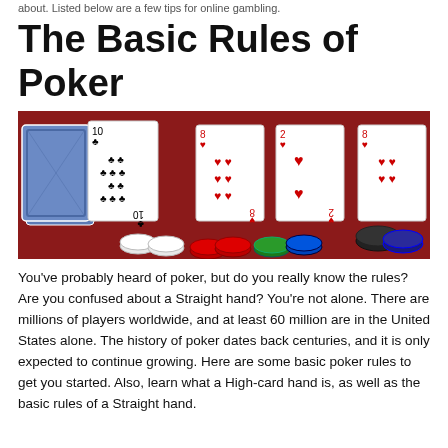about. Listed below are a few tips for online gambling.
The Basic Rules of Poker
[Figure (photo): Poker table with playing cards and poker chips on a red felt surface]
You've probably heard of poker, but do you really know the rules? Are you confused about a Straight hand? You're not alone. There are millions of players worldwide, and at least 60 million are in the United States alone. The history of poker dates back centuries, and it is only expected to continue growing. Here are some basic poker rules to get you started. Also, learn what a High-card hand is, as well as the basic rules of a Straight hand.